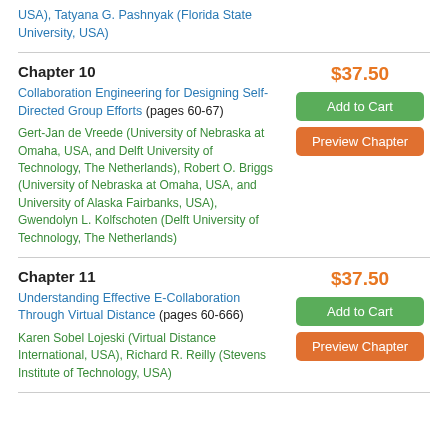USA), Tatyana G. Pashnyak (Florida State University, USA)
Chapter 10
Collaboration Engineering for Designing Self-Directed Group Efforts (pages 60-67)
Gert-Jan de Vreede (University of Nebraska at Omaha, USA, and Delft University of Technology, The Netherlands), Robert O. Briggs (University of Nebraska at Omaha, USA, and University of Alaska Fairbanks, USA), Gwendolyn L. Kolfschoten (Delft University of Technology, The Netherlands)
$37.50
Add to Cart
Preview Chapter
Chapter 11
Understanding Effective E-Collaboration Through Virtual Distance (pages 60-666)
Karen Sobel Lojeski (Virtual Distance International, USA), Richard R. Reilly (Stevens Institute of Technology, USA)
$37.50
Add to Cart
Preview Chapter